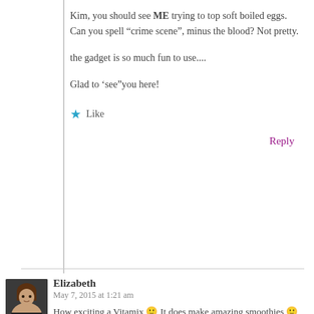Kim, you should see ME trying to top soft boiled eggs. Can you spell “crime scene”, minus the blood? Not pretty.

the gadget is so much fun to use....

Glad to ‘see”you here!
★ Like
Reply
Elizabeth
May 7, 2015 at 1:21 am
How exciting a Vitamix 🙂 It does make amazing smoothies 🙂 try everything... my favourites are always the green ones and I also use pea protein as I’m not a fan of the flavoured ones either. That Olive Oil intrigues me...